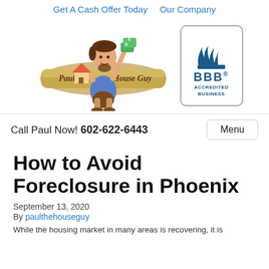Get A Cash Offer Today   Our Company
[Figure (logo): Paul The House Guy logo: cartoon man holding money and a house, sitting on a banner that reads 'Paul The House Guy']
[Figure (logo): BBB Accredited Business logo with BBB flame icon]
Call Paul Now! 602-622-6443
Menu
How to Avoid Foreclosure in Phoenix
September 13, 2020
By paulthehouseguy
While the housing market in many areas is recovering, it is